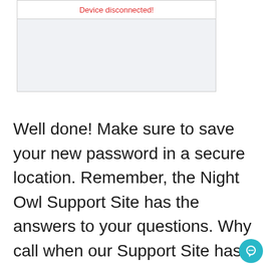[Figure (screenshot): A UI widget box showing 'Device disconnected!' in red text at the top, with a light gray empty content area below.]
Well done! Make sure to save your new password in a secure location. Remember, the Night Owl Support Site has the answers to your questions. Why call when our Support Site has it all!